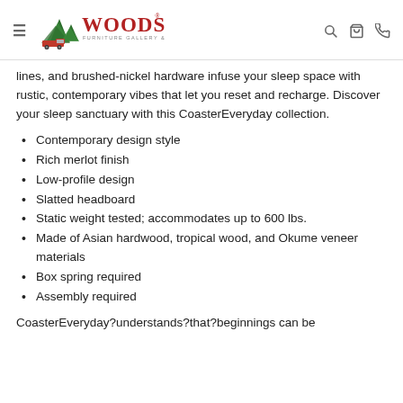Woods Furniture Gallery & Design
lines, and brushed-nickel hardware infuse your sleep space with rustic, contemporary vibes that let you reset and recharge. Discover your sleep sanctuary with this CoasterEveryday collection.
Contemporary design style
Rich merlot finish
Low-profile design
Slatted headboard
Static weight tested; accommodates up to 600 lbs.
Made of Asian hardwood, tropical wood, and Okume veneer materials
Box spring required
Assembly required
CoasterEveryday?understands?that?beginnings can be